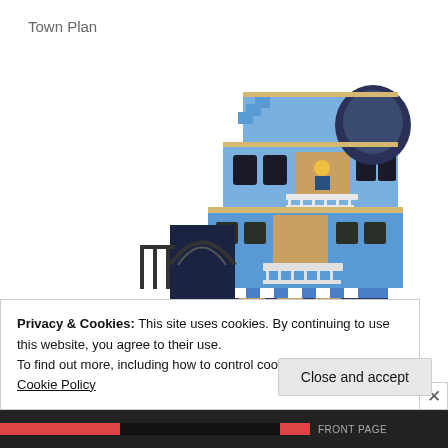Town Plan
[Figure (photo): LEGO modular building — a multi-story blue and dark blue European-style market street building with stepped gable roof, balconies, awning with blue and white stripes, arched entrance, and minifigures. The building appears to be a LEGO Creator Expert Market Street / Town Plan set.]
Privacy & Cookies: This site uses cookies. By continuing to use this website, you agree to their use.
To find out more, including how to control cookies, see here: Cookie Policy
Close and accept